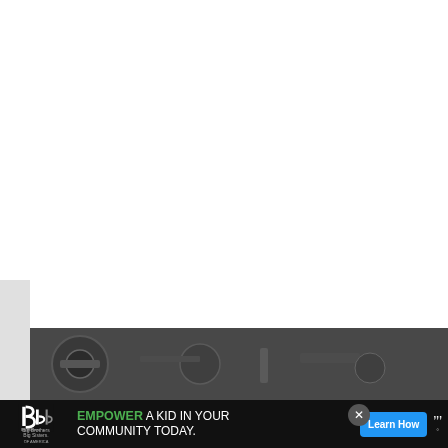[Figure (screenshot): White blank area taking up most of the page, representing a web article content area]
[Figure (infographic): Blue circular like/heart button with count of 3 below it, and a white share button below that]
[Figure (screenshot): What's Next banner showing a thumbnail of a gas-related article with text 'WHAT'S NEXT → This is the Kind of Gas ...']
[Figure (photo): Partial photo strip showing mechanical/automotive equipment at the bottom of the page]
[Figure (infographic): Advertisement banner for Big Brothers Big Sisters: 'EMPOWER A KID IN YOUR COMMUNITY TODAY.' with Learn How button, close X button, and weather app logo]